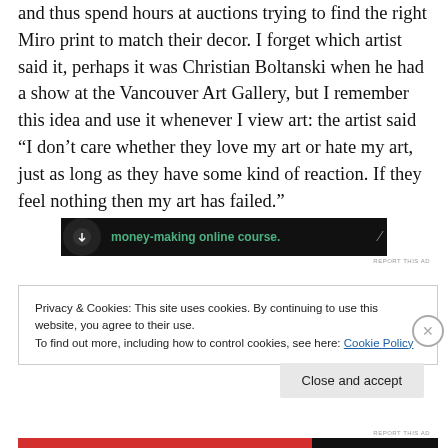and thus spend hours at auctions trying to find the right Miro print to match their decor. I forget which artist said it, perhaps it was Christian Boltanski when he had a show at the Vancouver Art Gallery, but I remember this idea and use it whenever I view art: the artist said “I don’t care whether they love my art or hate my art, just as long as they have some kind of reaction. If they feel nothing then my art has failed.”
[Figure (screenshot): Advertisement banner with dark background showing text 'money-making online course.' with a circular icon and arrow]
REPORT THIS AD
Privacy & Cookies: This site uses cookies. By continuing to use this website, you agree to their use.
To find out more, including how to control cookies, see here: Cookie Policy
Close and accept